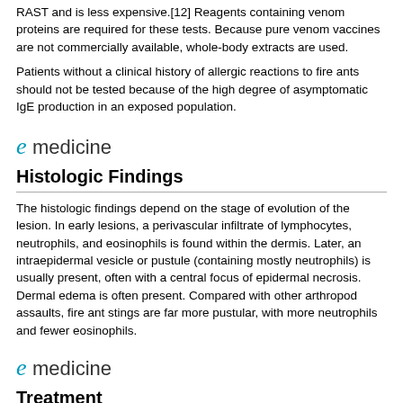RAST and is less expensive.[12] Reagents containing venom proteins are required for these tests. Because pure venom vaccines are not commercially available, whole-body extracts are used.
Patients without a clinical history of allergic reactions to fire ants should not be tested because of the high degree of asymptomatic IgE production in an exposed population.
[Figure (logo): eMedicine logo with stylized italic e in teal/blue and 'medicine' in dark gray]
Histologic Findings
The histologic findings depend on the stage of evolution of the lesion. In early lesions, a perivascular infiltrate of lymphocytes, neutrophils, and eosinophils is found within the dermis. Later, an intraepidermal vesicle or pustule (containing mostly neutrophils) is usually present, often with a central focus of epidermal necrosis. Dermal edema is often present. Compared with other arthropod assaults, fire ant stings are far more pustular, with more neutrophils and fewer eosinophils.
[Figure (logo): eMedicine logo with stylized italic e in teal/blue and 'medicine' in dark gray]
Treatment
Medical Care
Local stings